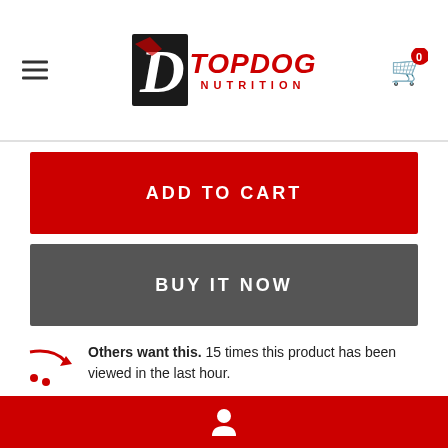TopDog Nutrition
ADD TO CART
BUY IT NOW
Others want this. 15 times this product has been viewed in the last hour.
ASK ABOUT THIS PRODUCT
SHIPPING & RETURN
[Figure (logo): Row of partner/payment method logos]
User account icon on red bar